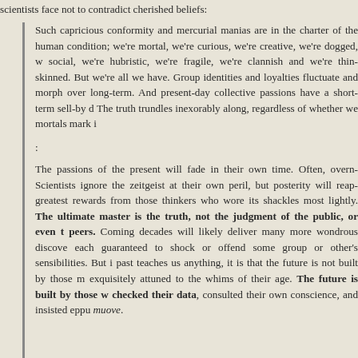scientists face not to contradict cherished beliefs:
Such capricious conformity and mercurial manias are in the charter of the human condition; we're mortal, we're curious, we're creative, we're dogged, we're social, we're hubristic, we're fragile, we're clannish and we're thin-skinned. But we're all we have. Group identities and loyalties fluctuate and morph over the long-term. And present-day collective passions have a short-term sell-by date. The truth trundles inexorably along, regardless of whether we mortals mark it.
:
The passions of the present will fade in their own time. Often, overnight. Scientists ignore the zeitgeist at their own peril, but posterity will reap its greatest rewards from those thinkers who wore its shackles most lightly. The ultimate master is the truth, not the judgment of the public, or even their peers. Coming decades will likely deliver many more wondrous discoveries, each guaranteed to shock or offend some group or other's sensibilities. But if the past teaches us anything, it is that the future is not built by those most exquisitely attuned to the whims of their age. The future is built by those who checked their data, consulted their own conscience, and insisted eppur si muove.